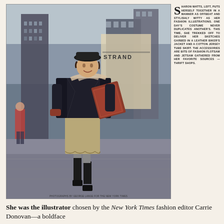[Figure (photo): A woman (Sharon Watts) walking on a New York City street wearing a leather biker's jacket, cotton jersey tube skirt, hat, scarf, and boots, carrying a portfolio/sketches. City buildings visible in background including a sign reading 'STRAND'. Other pedestrians visible.]
PHOTOGRAPHS BY GEORGE LANGE FOR THE NEW YORK TIMES
SHARON WATTS, LEFT, PUTS HERSELF TOGETHER IN A MANNER AS OFFBEAT AND STYLISHLY WITTY AS HER FASHION ILLUSTRATIONS. ONE DAY'S COSTUME NEVER DUPLICATES ANOTHER'S. THIS TIME, SHE TREKKED OFF TO DELIVER HER SKETCHES GARBED IN A LEATHER BIKER'S JACKET AND A COTTON JERSEY TUBE SKIRT. THE ACCESSORIES ARE BITS OF FASHION FLOTSAM AND JETSAM GATHERED FROM HER FAVORITE SOURCES — THRIFT SHOPS.
She was the illustrator chosen by the New York Times fashion editor Carrie Donovan—a boldface